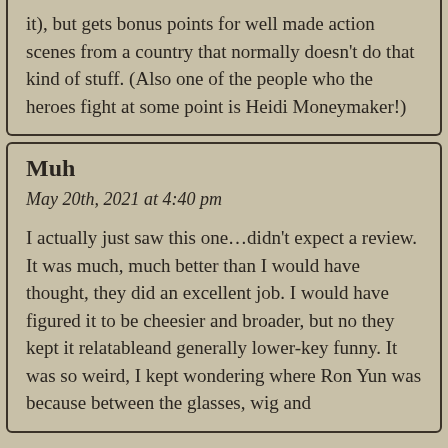it), but gets bonus points for well made action scenes from a country that normally doesn't do that kind of stuff. (Also one of the people who the heroes fight at some point is Heidi Moneymaker!)
Muh
May 20th, 2021 at 4:40 pm
I actually just saw this one…didn't expect a review. It was much, much better than I would have thought, they did an excellent job. I would have figured it to be cheesier and broader, but no they kept it relatableand generally lower-key funny. It was so weird, I kept wondering where Ron Yun was because between the glasses, wig and